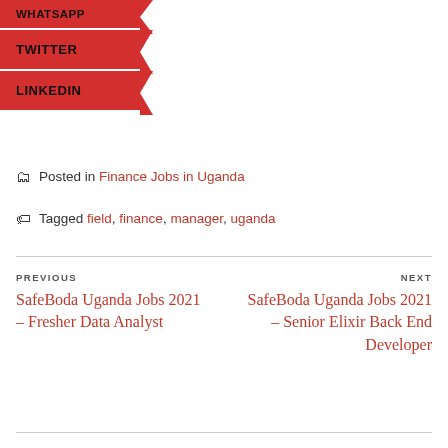[Figure (other): Social sharing buttons: WHATSAPP, TWITTER, LINKEDIN on red background with notch design]
Posted in Finance Jobs in Uganda
Tagged field, finance, manager, uganda
PREVIOUS
SafeBoda Uganda Jobs 2021 – Fresher Data Analyst
NEXT
SafeBoda Uganda Jobs 2021 – Senior Elixir Back End Developer